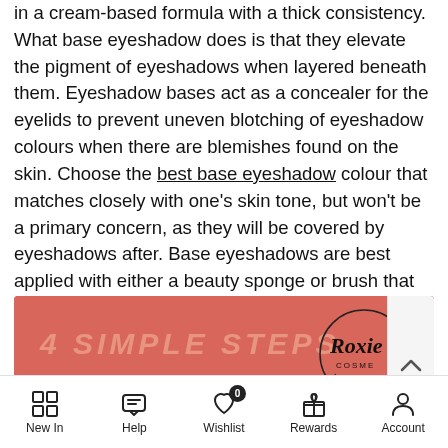in a cream-based formula with a thick consistency. What base eyeshadow does is that they elevate the pigment of eyeshadows when layered beneath them. Eyeshadow bases act as a concealer for the eyelids to prevent uneven blotching of eyeshadow colours when there are blemishes found on the skin. Choose the best base eyeshadow colour that matches closely with one's skin tone, but won't be a primary concern, as they will be covered by eyeshadows after. Base eyeshadows are best applied with either a beauty sponge or brush that can easily cover the tiny corners of the eyelids.
[Figure (infographic): Salmon/coral colored banner reading '4 SIMPLE STEPS TO APPLY EYESHADOW' with Roxie Cosmetics logo on the right side]
New In   Help   Wishlist (0)   Rewards   Account